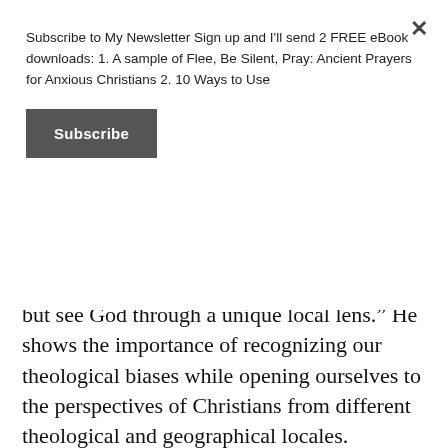Subscribe to My Newsletter Sign up and I'll send 2 FREE eBook downloads: 1. A sample of Flee, Be Silent, Pray: Ancient Prayers for Anxious Christians 2. 10 Ways to Use
Subscribe
but see God through a unique local lens." He shows the importance of recognizing our theological biases while opening ourselves to the perspectives of Christians from different theological and geographical locales.
Filled with humor and stories from the author's life, Coffeehouse Theology moves lightly through some hefty topics. Cyzewski navigates them with care and, in the process, shows why our language